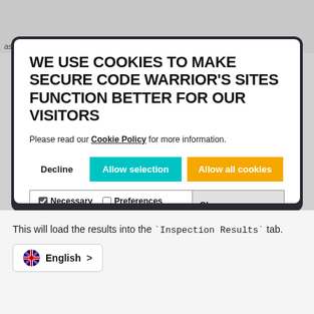as we'll see later. SECURE CODE
WE USE COOKIES TO MAKE SECURE CODE WARRIOR'S SITES FUNCTION BETTER FOR OUR VISITORS
Please read our Cookie Policy for more information.
Decline  Allow selection  Allow all cookies
Necessary  Preferences  Statistics  Marketing  Show details
This will load the results into the `Inspection Results` tab.
English >